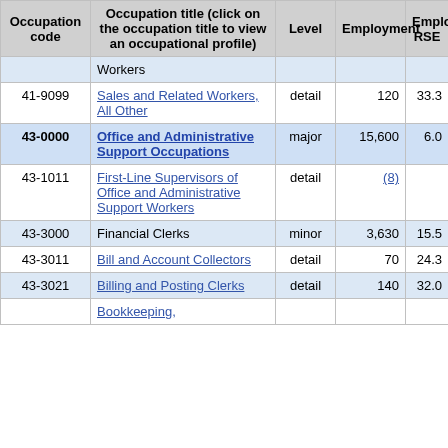| Occupation code | Occupation title (click on the occupation title to view an occupational profile) | Level | Employment | Employment RSE |
| --- | --- | --- | --- | --- |
|  | Workers |  |  |  |
| 41-9099 | Sales and Related Workers, All Other | detail | 120 | 33.3 |
| 43-0000 | Office and Administrative Support Occupations | major | 15,600 | 6.0 |
| 43-1011 | First-Line Supervisors of Office and Administrative Support Workers | detail | (8) |  |
| 43-3000 | Financial Clerks | minor | 3,630 | 15.5 |
| 43-3011 | Bill and Account Collectors | detail | 70 | 24.3 |
| 43-3021 | Billing and Posting Clerks | detail | 140 | 32.0 |
|  | Bookkeeping, |  |  |  |